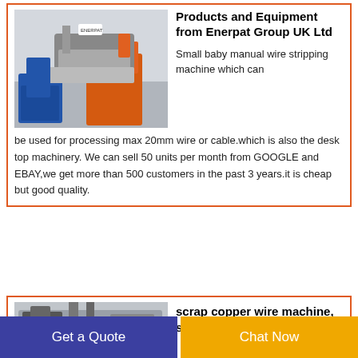[Figure (photo): Industrial wire stripping machine with blue and orange metal frame on workshop floor]
Products and Equipment from Enerpat Group UK Ltd
Small baby manual wire stripping machine which can be used for processing max 20mm wire or cable.which is also the desk top machinery. We can sell 50 units per month from GOOGLE and EBAY,we get more than 500 customers in the past 3 years.it is cheap but good quality.
[Figure (photo): Scrap copper wire machine, industrial equipment with metal trays and hoppers]
scrap copper wire machine, scrap copper
Get a Quote
Chat Now